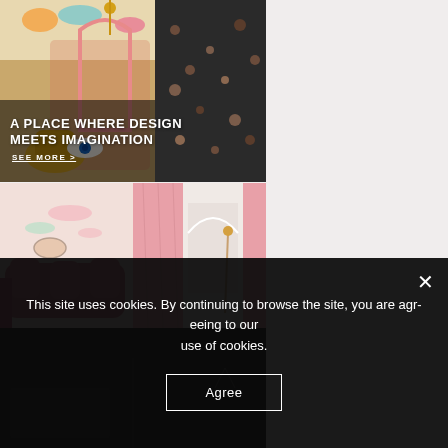[Figure (photo): Interior design collage: top banner shows a colorful children's room with pink arched shelving unit, yellow butterfly chair, abstract wall art; bottom left shows pink padded bed/sofa in pastel room; bottom right shows elegant room with pink curtains and arched doorway; dark section at bottom]
A PLACE WHERE DESIGN MEETS IMAGINATION
SEE MORE >
This site uses cookies. By continuing to browse the site, you are agreeing to our use of cookies.
Agree